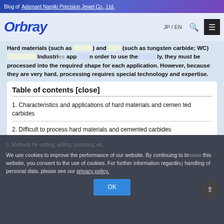Blog of Adamant Namiki Precision Jewel Co., Ltd.
Hard materials (such as ...) and (such as tungsten carbide; WC) ... Industries ... applications ... in order to use these ... ily, they must be processed into the required shape for each application. However, because they are very hard, processing requires special technology and expertise.
Table of contents [close]
1. Characteristics and applications of hard materials and cemented carbides
2. Difficult to process hard materials and cemented carbides
3. Methods for cutting, drilling, polishing, etc.
We use cookies to improve the performance of our website. By continuing to browse this website, you consent to the use of cookies. For further information regarding handling of personal data, please see our privacy policy.